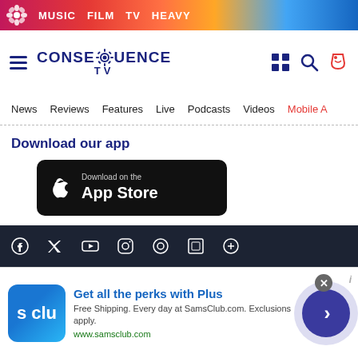MUSIC  FILM  TV  HEAVY
[Figure (logo): Consequence TV logo with gear icon, navy blue text]
News  Reviews  Features  Live  Podcasts  Videos  Mobile App
Download our app
[Figure (screenshot): Download on the App Store button (black rounded rectangle)]
[Figure (screenshot): Get it on Google Play button (black rounded rectangle)]
Social media icon links: Facebook, Twitter, YouTube, Instagram, and others
[Figure (infographic): Advertisement overlay: SamsClub.com - Get all the perks with Plus. Free Shipping. Every day at SamsClub.com. Exclusions apply. www.samsclub.com]